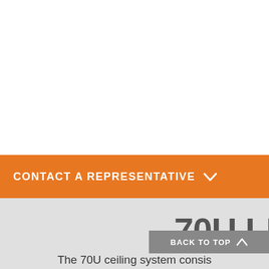[Figure (other): White blank area — top section of page, no visible content]
CONTACT A REPRESENTATIVE
70U LI
BACK TO TOP
The 70U ceiling system consis